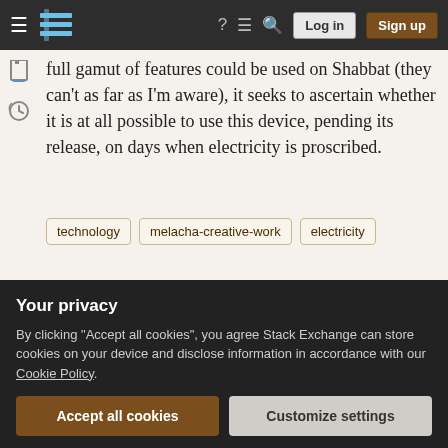Stack Exchange navigation bar with Log in and Sign up buttons
full gamut of features could be used on Shabbat (they can't as far as I'm aware), it seeks to ascertain whether it is at all possible to use this device, pending its release, on days when electricity is proscribed.
technology
melacha-creative-work
electricity
Share
Improve this question
Follow
edited Nov 7, 2014 at 18:57
Charles Koppelman
6,826  1  22  55
asked Nov 7, 2014 at 14:48
Your privacy
By clicking "Accept all cookies", you agree Stack Exchange can store cookies on your device and disclose information in accordance with our Cookie Policy.
Accept all cookies  Customize settings
have a display that turns off when not in use (like a